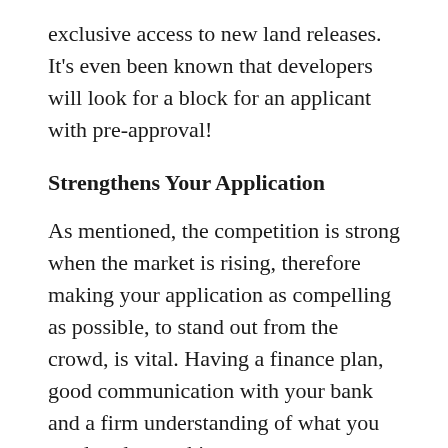exclusive access to new land releases. It's even been known that developers will look for a block for an applicant with pre-approval!
Strengthens Your Application
As mentioned, the competition is strong when the market is rising, therefore making your application as compelling as possible, to stand out from the crowd, is vital. Having a finance plan, good communication with your bank and a firm understanding of what you need to do to achieve your mortgage with your pre-approval, demonstrates your commitment to buying.